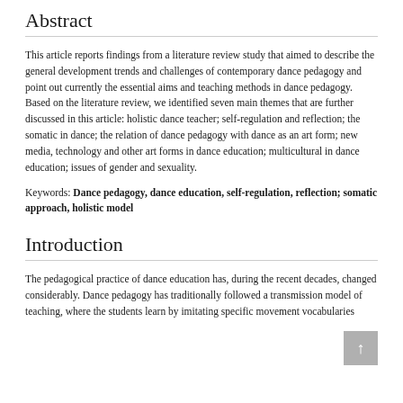Abstract
This article reports findings from a literature review study that aimed to describe the general development trends and challenges of contemporary dance pedagogy and point out currently the essential aims and teaching methods in dance pedagogy. Based on the literature review, we identified seven main themes that are further discussed in this article: holistic dance teacher; self-regulation and reflection; the somatic in dance; the relation of dance pedagogy with dance as an art form; new media, technology and other art forms in dance education; multicultural in dance education; issues of gender and sexuality.
Keywords: Dance pedagogy, dance education, self-regulation, reflection; somatic approach, holistic model
Introduction
The pedagogical practice of dance education has, during the recent decades, changed considerably. Dance pedagogy has traditionally followed a transmission model of teaching, where the students learn by imitating specific movement vocabularies